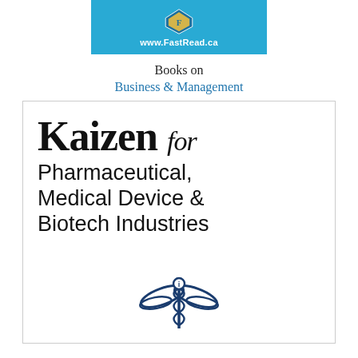[Figure (logo): FastRead.ca logo banner in blue with diamond shape and URL www.FastRead.ca]
Books on
Business & Management
[Figure (illustration): Book cover for 'Kaizen for Pharmaceutical, Medical Device & Biotech Industries' with a caduceus medical symbol at bottom, inside a bordered box]